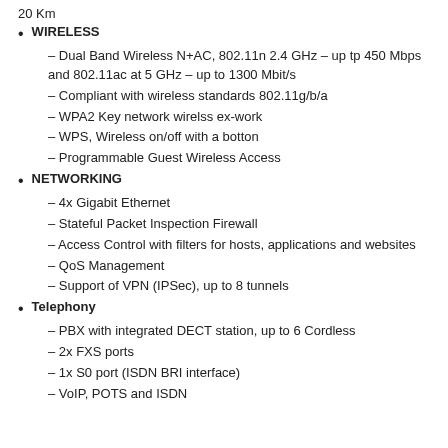20 Km
WIRELESS
– Dual Band Wireless N+AC, 802.11n 2.4 GHz – up tp 450 Mbps and 802.11ac at 5 GHz – up to 1300 Mbit/s
– Compliant with wireless standards 802.11g/b/a
– WPA2 Key network wirelss ex-work
– WPS, Wireless on/off with a botton
– Programmable Guest Wireless Access
NETWORKING
– 4x Gigabit Ethernet
– Stateful Packet Inspection Firewall
– Access Control with filters for hosts, applications and websites
– QoS Management
– Support of VPN (IPSec), up to 8 tunnels
Telephony
– PBX with integrated DECT station, up to 6 Cordless
– 2x FXS ports
– 1x S0 port (ISDN BRI interface)
– VoIP, POTS and ISDN